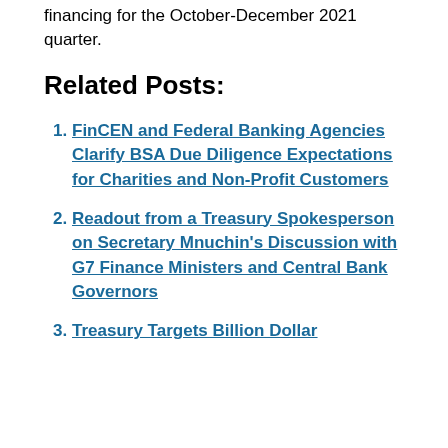financing for the October-December 2021 quarter.
Related Posts:
FinCEN and Federal Banking Agencies Clarify BSA Due Diligence Expectations for Charities and Non-Profit Customers
Readout from a Treasury Spokesperson on Secretary Mnuchin's Discussion with G7 Finance Ministers and Central Bank Governors
Treasury Targets Billion Dollar